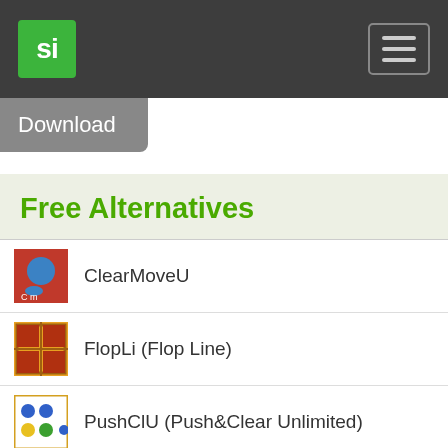[Figure (logo): si logo green square with white text, and hamburger menu button]
Download
Free Alternatives
ClearMoveU
FlopLi (Flop Line)
PushClU (Push&Clear Unlimited)
RoadCP
RoadRT (Road Rotate)
Paid Alternatives